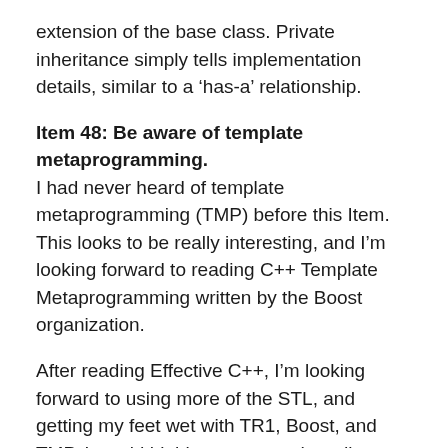extension of the base class. Private inheritance simply tells implementation details, similar to a ‘has-a’ relationship.
Item 48: Be aware of template metaprogramming.
I had never heard of template metaprogramming (TMP) before this Item. This looks to be really interesting, and I’m looking forward to reading C++ Template Metaprogramming written by the Boost organization.
After reading Effective C++, I’m looking forward to using more of the STL, and getting my feet wet with TR1, Boost, and TMP. I would highly recommend reading Effective C++ for an experienced developer that is working in C++. This book is also good for students just getting in to C++, as it can help them watch out for many mistakes that novices and intermediate level developers may make.